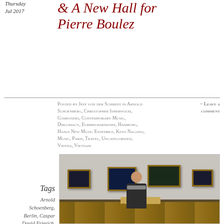Thursday
Jul 2017
& A New Hall for Pierre Boulez
Posted by Jeff von der Schmidt in Arnold Schoenberg, Christopher Isherwood, Composers, Contemporary Music, Diplomacy, Elbphilharmonie, Hamburg, Hanoi New Music Ensemble, Kent Nagano, Music, Paris, Travel, Uncategorized, Vienna, Vietnam
= Leave a comment
Tags
Arnold Schoenberg,
Berlin, Caspar
David Frierich,
Checkpoint
Charlie,
[Figure (photo): Person sitting on a bench in a museum gallery with four framed paintings on the wall behind them]